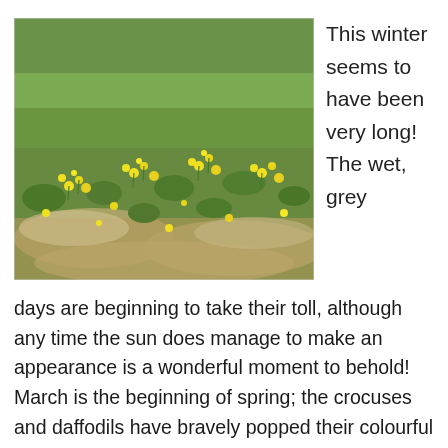[Figure (photo): A photograph of yellow daffodils and small yellow flowers growing in a waterlogged grassy field with muddy, wet patches visible on the ground.]
This winter seems to have been very long! The wet, grey days are beginning to take their toll, although any time the sun does manage to make an appearance is a wonderful moment to behold! March is the beginning of spring; the crocuses and daffodils have bravely popped their colourful heads up, but I